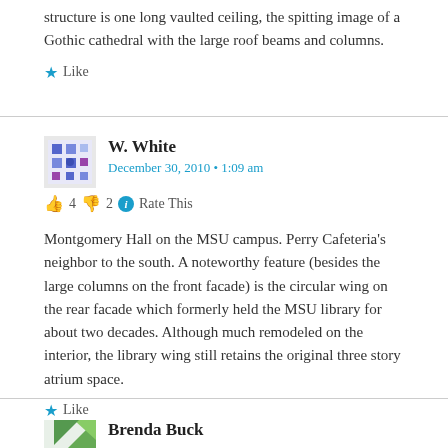structure is one long vaulted ceiling, the spitting image of a Gothic cathedral with the large roof beams and columns.
★ Like
W. White
December 30, 2010 • 1:09 am
👍 4 👎 2 ℹ Rate This
Montgomery Hall on the MSU campus. Perry Cafeteria's neighbor to the south. A noteworthy feature (besides the large columns on the front facade) is the circular wing on the rear facade which formerly held the MSU library for about two decades. Although much remodeled on the interior, the library wing still retains the original three story atrium space.
★ Like
Brenda Buck